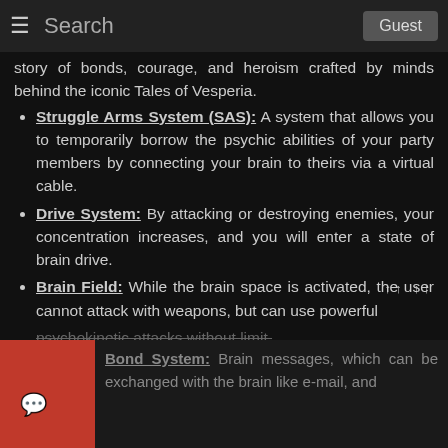Search | Guest
story of bonds, courage, and heroism crafted by minds behind the iconic Tales of Vesperia.
Struggle Arms System (SAS): A system that allows you to temporarily borrow the psychic abilities of your party members by connecting your brain to theirs via a virtual cable.
Drive System: By attacking or destroying enemies, your concentration increases, and you will enter a state of brain drive.
Brain Field: While the brain space is activated, the user cannot attack with weapons, but can use powerful psychokinetic attacks without limit.
Bond System: Brain messages, which can be exchanged with the brain like e-mail, and